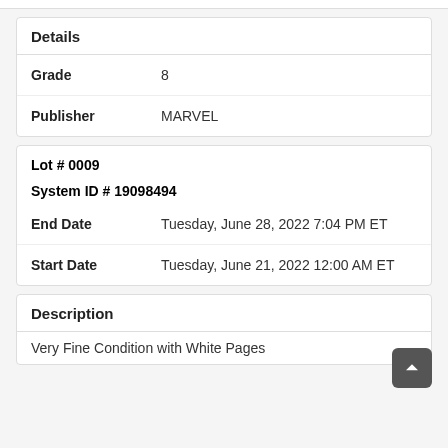Details
| Field | Value |
| --- | --- |
| Grade | 8 |
| Publisher | MARVEL |
Lot # 0009
System ID # 19098494
End Date   Tuesday, June 28, 2022 7:04 PM ET
Start Date   Tuesday, June 21, 2022 12:00 AM ET
Description
Very Fine Condition with White Pages